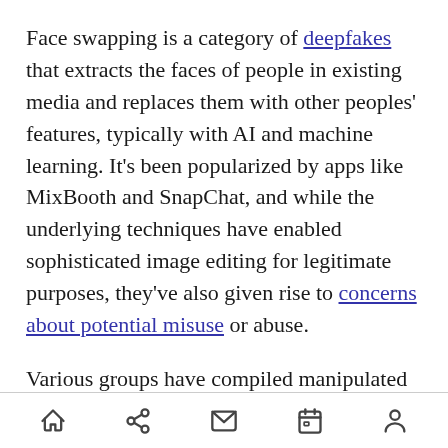Face swapping is a category of deepfakes that extracts the faces of people in existing media and replaces them with other peoples' features, typically with AI and machine learning. It's been popularized by apps like MixBooth and SnapChat, and while the underlying techniques have enabled sophisticated image editing for legitimate purposes, they've also given rise to concerns about potential misuse or abuse.
Various groups have compiled manipulated media to support the development of face swapping detection methods, but the samples that have released so far are relatively few in number or overly artificial. That's why researchers from
[home] [share] [mail] [calendar] [profile]